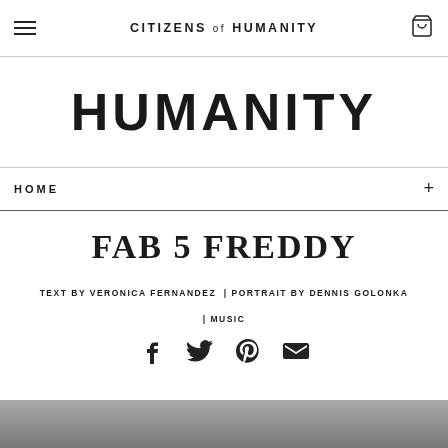CITIZENS of HUMANITY
HUMANITY
HOME
FAB 5 FREDDY
TEXT BY VERONICA FERNANDEZ | PORTRAIT BY DENNIS GOLONKA | MUSIC
[Figure (infographic): Social share icons: Facebook, Twitter, Pinterest, Email]
[Figure (photo): Black and white portrait photo, partially visible at bottom of page]